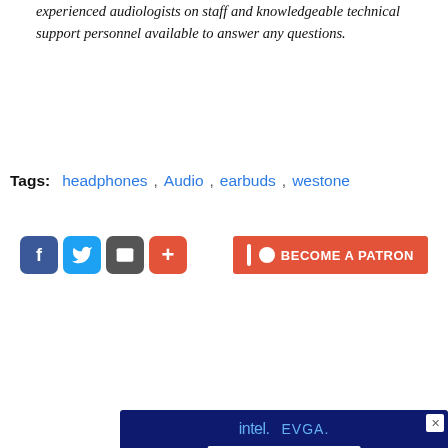experienced audiologists on staff and knowledgeable technical support personnel available to answer any questions.
[Figure (infographic): Social sharing buttons: Facebook, Twitter, Email, Plus; and Patreon 'BECOME A PATRON' button]
Tags: headphones , Audio , earbuds , westone
[Figure (infographic): Advertisement: Intel + EVGA Gamer Days. Get a FREE Mouse & Keyboard when you purchase an EVGA Z690 Motherboard! Shows two motherboards, keyboard and mouse.]